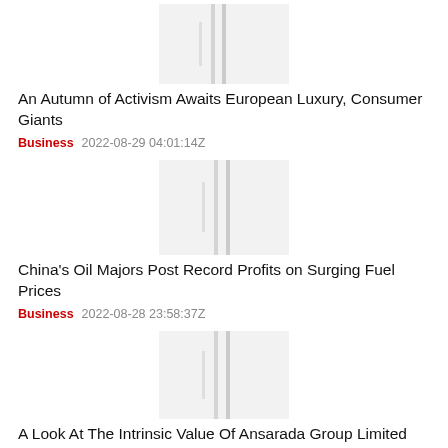[Figure (other): Blurred thumbnail image placeholder with vertical lines]
An Autumn of Activism Awaits European Luxury, Consumer Giants
Business  2022-08-29 04:01:14Z
[Figure (other): Blurred thumbnail image placeholder with vertical lines]
China's Oil Majors Post Record Profits on Surging Fuel Prices
Business  2022-08-28 23:58:37Z
[Figure (other): Blurred thumbnail image placeholder with vertical lines]
A Look At The Intrinsic Value Of Ansarada Group Limited (ASX:AND)